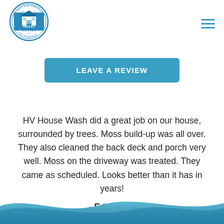[Figure (logo): Hudson Valley House Wash LLC circular logo with blue house illustration and circular text reading 'IT'S NOT THE PRESSURE' and 'IT'S THE PROCESS']
[Figure (other): Hamburger menu icon with three horizontal blue lines]
LEAVE A REVIEW
HV House Wash did a great job on our house, surrounded by trees. Moss build-up was all over. They also cleaned the back deck and porch very well. Moss on the driveway was treated. They came as scheduled. Looks better than it has in years!
- Ed Boden
[Figure (illustration): Blue wave/swoosh decorative footer element at the bottom of the page]